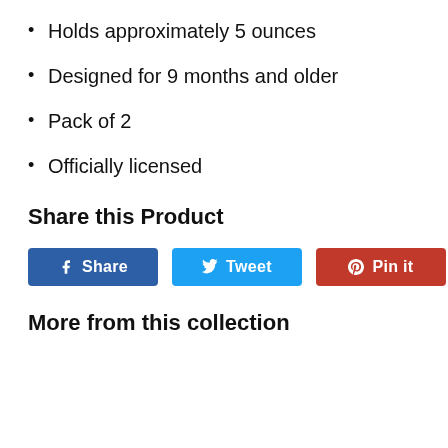Holds approximately 5 ounces
Designed for 9 months and older
Pack of 2
Officially licensed
Share this Product
[Figure (other): Social share buttons: Facebook Share, Tweet, Pin it]
More from this collection